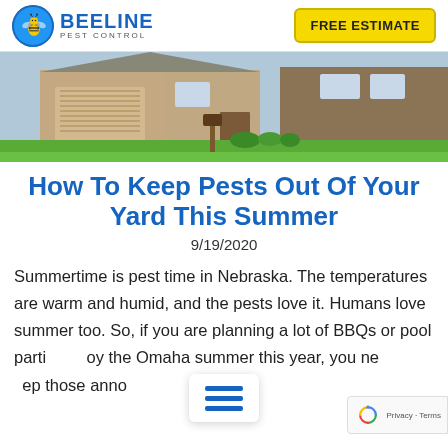[Figure (logo): Beeline Pest Control logo with bee mascot in blue circle]
FREE ESTIMATE
[Figure (photo): Suburban house with green lawn, garage, mailbox, and landscaping]
How To Keep Pests Out Of Your Yard This Summer
9/19/2020
Summertime is pest time in Nebraska. The temperatures are warm and humid, and the pests love it. Humans love summer too. So, if you are planning a lot of BBQs or pool parties to enjoy the Omaha summer this year, you need to keep those annoying